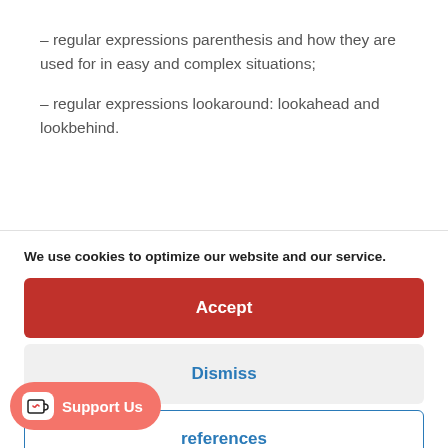– regular expressions parenthesis and how they are used for in easy and complex situations;
– regular expressions lookaround: lookahead and lookbehind.
We use cookies to optimize our website and our service.
Accept
Dismiss
references
Support Us